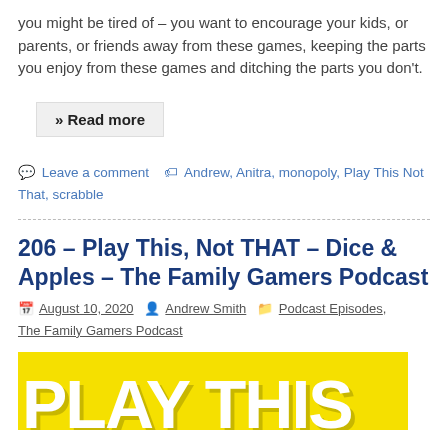you might be tired of – you want to encourage your kids, or parents, or friends away from these games, keeping the parts you enjoy from these games and ditching the parts you don't.
» Read more
Leave a comment  Andrew, Anitra, monopoly, Play This Not That, scrabble
206 – Play This, Not THAT – Dice & Apples – The Family Gamers Podcast
August 10, 2020  Andrew Smith  Podcast Episodes, The Family Gamers Podcast
[Figure (photo): Yellow background image with large white bold text reading 'PLAY THIS']